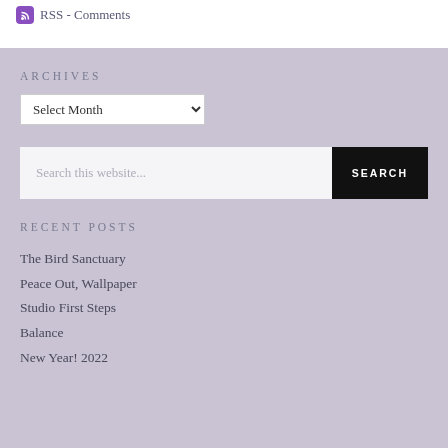RSS - Comments
ARCHIVES
Select Month
Search this website...
RECENT POSTS
The Bird Sanctuary
Peace Out, Wallpaper
Studio First Steps
Balance
New Year! 2022